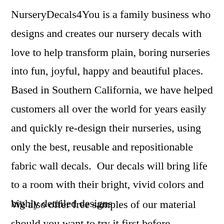NurseryDecals4You is a family business who designs and creates our nursery decals with love to help transform plain, boring nurseries into fun, joyful, happy and beautiful places. Based in Southern California, we have helped customers all over the world for years easily and quickly re-design their nurseries, using only the best, reusable and repositionable fabric wall decals.  Our decals will bring life to a room with their bright, vivid colors and highly detailed designs
We also offer free samples of our material should you want to try it first before...